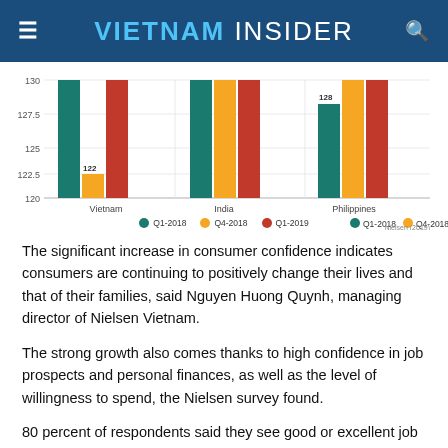VIETNAM INSIDER
[Figure (grouped-bar-chart): Consumer Confidence Index]
The significant increase in consumer confidence indicates consumers are continuing to positively change their lives and that of their families, said Nguyen Huong Quynh, managing director of Nielsen Vietnam.
The strong growth also comes thanks to high confidence in job prospects and personal finances, as well as the level of willingness to spend, the Nielsen survey found.
80 percent of respondents said they see good or excellent job prospects for the next 12 months, an increase of 5 percentage